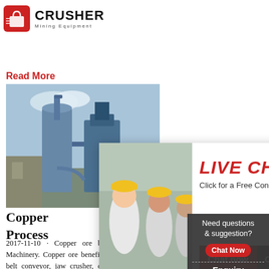[Figure (logo): Crusher Mining Equipment logo with red shopping bag icon and bold CRUSHER text]
Read More
[Figure (photo): Industrial mining equipment - large blue machinery with pipes and silos outdoors]
Copper Process
2017-11-10 · Copper ore beneficiation plant_Liming Heavy Industry Machinery. Copper ore beneficiation equipments include: Vibrating feeder, belt conveyor, jaw crusher, cone crusher, ball mill, flotation machine, fine ore filtering machine, dryer. In most cases, we apply flotation process for copper ore dressing and the generally process steps as
Read More
[Figure (photo): Live Chat popup overlay with workers in yellow hard hats, LIVE CHAT heading, Click for a Free Consultation, Chat now and Chat later buttons]
[Figure (photo): 24Hrs Online banner with female customer support advisor wearing headset]
Need questions & suggestion? Chat Now Enquiry limingjlmofen@sina.com